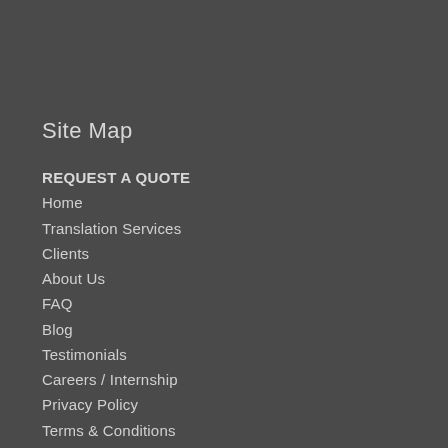Site Map
REQUEST A QUOTE
Home
Translation Services
Clients
About Us
FAQ
Blog
Testimonials
Careers / Internship
Privacy Policy
Terms & Conditions
Contact